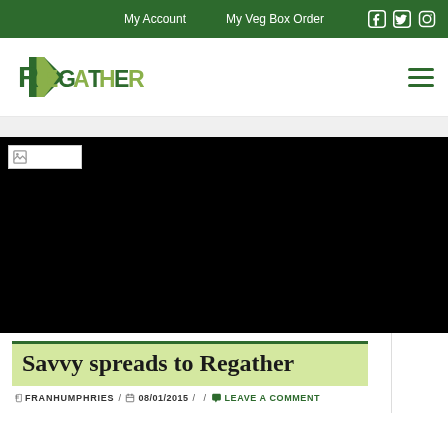My Account  My Veg Box Order
[Figure (logo): Regather logo with green leaf/arrow graphic and stylized REGATHER text in green]
[Figure (photo): Large black hero image with a broken/missing image thumbnail in the top-left corner]
Savvy spreads to Regather
FRANHUMPHRIES / 08/01/2015 / / LEAVE A COMMENT